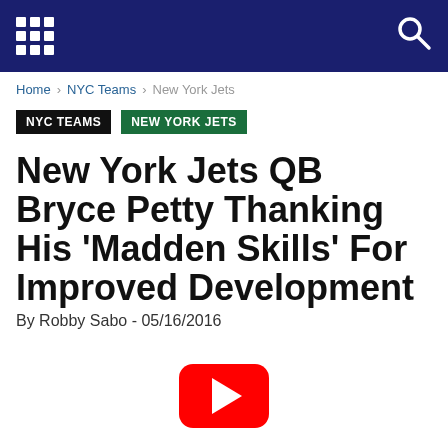Navigation bar with grid menu icon and search icon
Home › NYC Teams › New York Jets
NYC TEAMS  NEW YORK JETS
New York Jets QB Bryce Petty Thanking His 'Madden Skills' For Improved Development
By Robby Sabo - 05/16/2016
[Figure (other): YouTube play button icon (red rounded rectangle with white play triangle)]